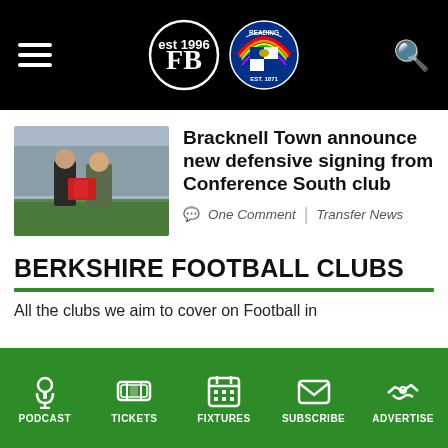Football in Berkshire - header with logos and navigation
[Figure (photo): Two men holding a red football jersey on a grass pitch]
Bracknell Town announce new defensive signing from Conference South club
One Comment | Transfer News
BERKSHIRE FOOTBALL CLUBS
All the clubs we aim to cover on Football in
PODCAST | TICKETS | FIXTURES | SUBSCRIBE | ADVERTISE